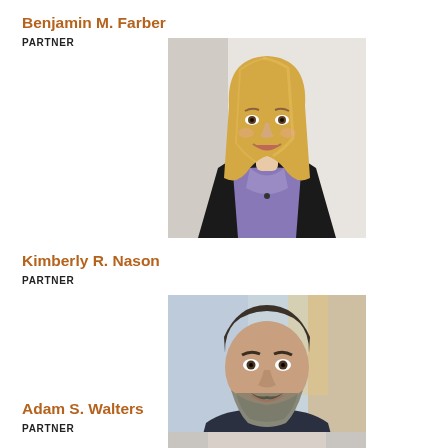Benjamin M. Farber
PARTNER
[Figure (photo): Professional headshot of a woman with long blonde hair, wearing a purple blouse and dark blazer, smiling at camera against a light background]
Kimberly R. Nason
PARTNER
[Figure (photo): Professional headshot of a middle-aged man with short dark hair and a gray beard, wearing a dark patterned shirt, smiling, against a blurred office background]
Adam S. Walters
PARTNER
[Figure (photo): Partial professional headshot visible at bottom of page, cropped]